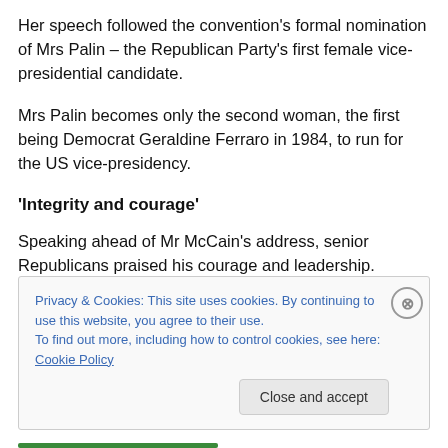Her speech followed the convention's formal nomination of Mrs Palin – the Republican Party's first female vice-presidential candidate.
Mrs Palin becomes only the second woman, the first being Democrat Geraldine Ferraro in 1984, to run for the US vice-presidency.
'Integrity and courage'
Speaking ahead of Mr McCain's address, senior Republicans praised his courage and leadership.
Privacy & Cookies: This site uses cookies. By continuing to use this website, you agree to their use.
To find out more, including how to control cookies, see here: Cookie Policy